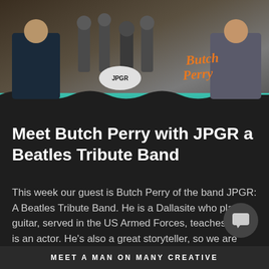[Figure (photo): Promotional image showing Butch Perry with JPGR Beatles Tribute Band. On the left is a woman in a dark shirt with hands on hips. Center shows black and white photo of band members with 'JPGR' on drum kit. Right side shows a smiling man with glasses. Orange script text reads 'Butch Perry'. Teal wave design at bottom of image.]
Meet Butch Perry with JPGR a Beatles Tribute Band
This week our guest is Butch Perry of the band JPGR: A Beatles Tribute Band. He is a Dallasite who plays guitar, served in the US Armed Forces, teaches, and is an actor. He's also a great storyteller, so we are pleased to present this conversation.
MEET A MAN ON MANY CREATIVE